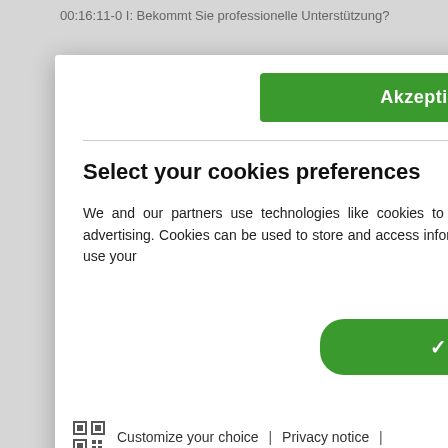00:16:11-0 I: Bekommt Sie professionelle Unterstützung?
Akzeptieren & schließen
Select your cookies preferences
We and our partners use technologies like cookies to analyze and improve our website and personalize our content and advertising. Cookies can be used to store and access information on a device. We and our partners need your consent in order to use your
Reject all
✓ Accept all
Customize your choice | Privacy notice | Legal notice
00:20:26-0 I: Das Ort, wohin sie Einkaufen geht ist wahrscheinlic